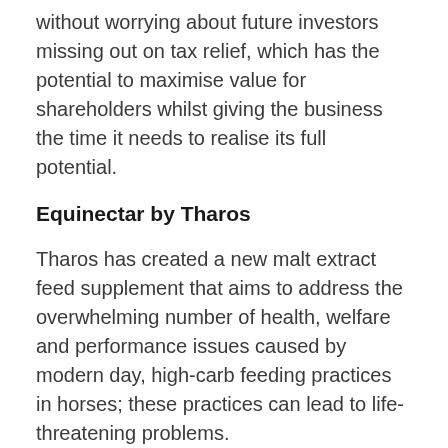without worrying about future investors missing out on tax relief, which has the potential to maximise value for shareholders whilst giving the business the time it needs to realise its full potential.
Equinectar by Tharos
Tharos has created a new malt extract feed supplement that aims to address the overwhelming number of health, welfare and performance issues caused by modern day, high-carb feeding practices in horses; these practices can lead to life-threatening problems.